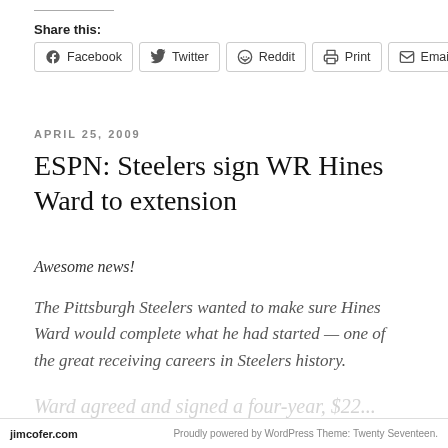Share this:
[Figure (other): Share buttons: Facebook, Twitter, Reddit, Print, Email]
APRIL 25, 2009
ESPN: Steelers sign WR Hines Ward to extension
Awesome news!
The Pittsburgh Steelers wanted to make sure Hines Ward would complete what he had started — one of the great receiving careers in Steelers history.
jimcofer.com   Proudly powered by WordPress Theme: Twenty Seventeen.